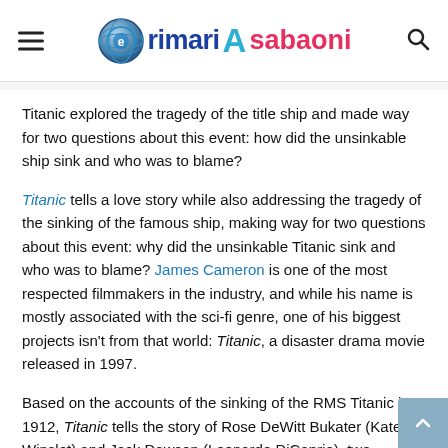rimari Asabaoni
Titanic explored the tragedy of the title ship and made way for two questions about this event: how did the unsinkable ship sink and who was to blame?
Titanic tells a love story while also addressing the tragedy of the sinking of the famous ship, making way for two questions about this event: why did the unsinkable Titanic sink and who was to blame? James Cameron is one of the most respected filmmakers in the industry, and while his name is mostly associated with the sci-fi genre, one of his biggest projects isn't from that world: Titanic, a disaster drama movie released in 1997.
Based on the accounts of the sinking of the RMS Titanic in 1912, Titanic tells the story of Rose DeWitt Bukater (Kate Winslet) and Jack Dawson (Leonardo DiCaprio), two